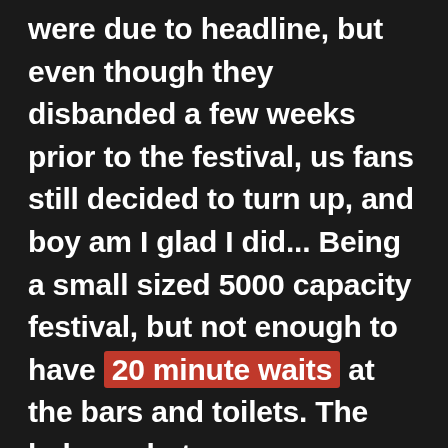were due to headline, but even though they disbanded a few weeks prior to the festival, us fans still decided to turn up, and boy am I glad I did... Being a small sized 5000 capacity festival, but not enough to have 20 minute waits at the bars and toilets. The balance between atmosphere and accessibility is second to none. The food stalls are all hand picked, the same with the local ciders/ales and beers, the